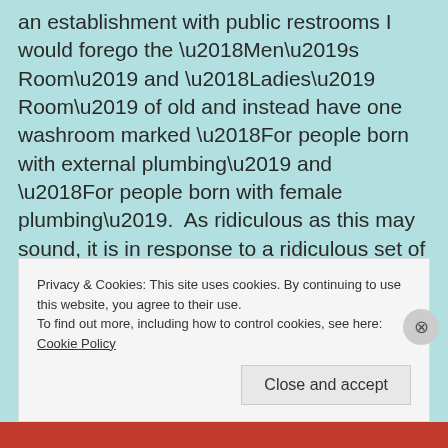an establishment with public restrooms I would forego the ‘Men’s Room’ and ‘Ladies’ Room’ of old and instead have one washroom marked ‘For people born with external plumbing’ and ‘For people born with female plumbing’.  As ridiculous as this may sound, it is in response to a ridiculous set of circumstances.  Thirty years ago who would have imagined there would be a circumstance where someone would actually argue which washroom
Privacy & Cookies: This site uses cookies. By continuing to use this website, you agree to their use.
To find out more, including how to control cookies, see here: Cookie Policy